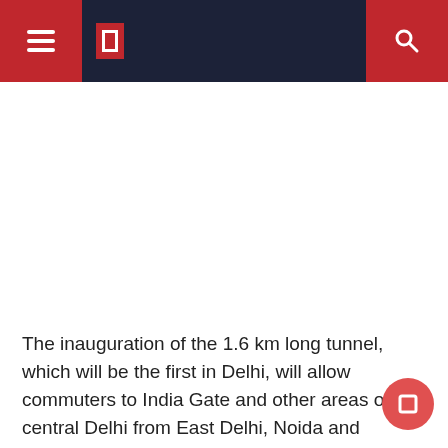[hamburger menu] [logo] [search icon]
The inauguration of the 1.6 km long tunnel, which will be the first in Delhi, will allow commuters to India Gate and other areas of central Delhi from East Delhi, Noida and Ghaziabad avoid traffic jams at ITO, Mathura Road and Bhairon Marg, saving time, fuel and money. “Time is money,” Modi said, adding that if the government announces 100 rupees for